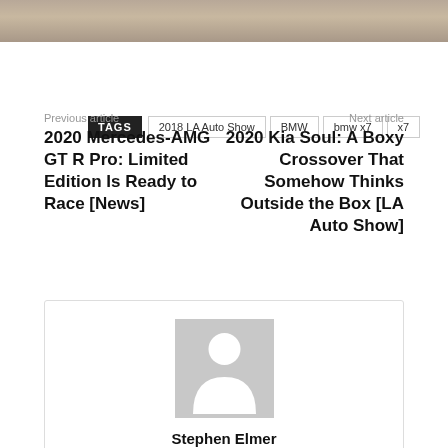[Figure (photo): Top cropped image showing fur or animal texture in gray/brown tones]
TAGS   2018 LA Auto Show   BMW   bmw x7   x7
Previous article
2020 Mercedes-AMG GT R Pro: Limited Edition Is Ready to Race [News]
Next article
2020 Kia Soul: A Boxy Crossover That Somehow Thinks Outside the Box [LA Auto Show]
[Figure (photo): Generic user avatar placeholder — gray square with white silhouette of a person]
Stephen Elmer